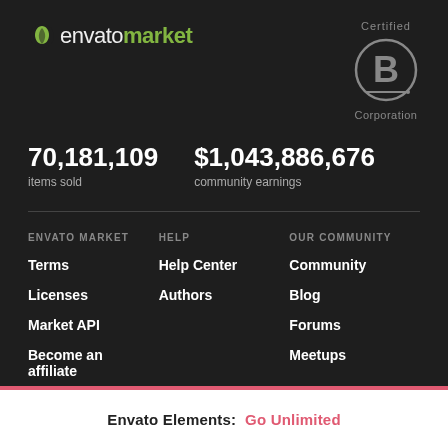[Figure (logo): Envato Market logo with green leaf icon and white/green text]
[Figure (logo): Certified B Corporation logo — circle with letter B inside, gray outline, text 'Certified' above and 'Corporation' below]
70,181,109
items sold
$1,043,886,676
community earnings
ENVATO MARKET
HELP
OUR COMMUNITY
Terms
Help Center
Community
Licenses
Authors
Blog
Market API
Forums
Become an affiliate
Meetups
MEET ENVATO
Envato Elements: Go Unlimited